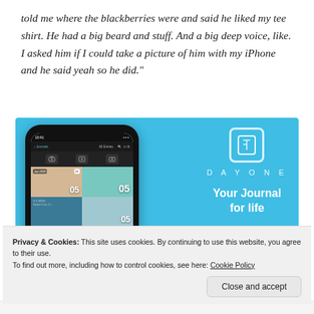told me where the blackberries were and said he liked my tee shirt. He had a big beard and stuff. And a big deep voice, like. I asked him if I could take a picture of him with my iPhone and he said yeah so he did."
[Figure (screenshot): DayOne journal app advertisement on a light blue background. Shows a smartphone mockup with the DayOne app interface displaying photo journal entries, alongside the DayOne logo, tagline 'Your Journal for life', and a 'Get the app' button.]
Privacy & Cookies: This site uses cookies. By continuing to use this website, you agree to their use.
To find out more, including how to control cookies, see here: Cookie Policy
Close and accept